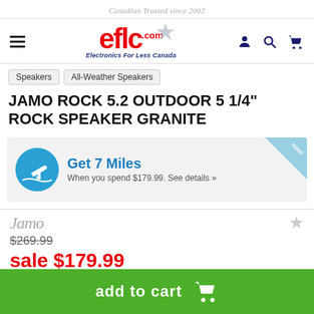Canadian Trusted since 2002
[Figure (logo): eflc.com logo with text Electronics For Less Canada]
Speakers
All-Weather Speakers
JAMO ROCK 5.2 OUTDOOR 5 1/4" ROCK SPEAKER GRANITE
[Figure (infographic): Air Miles reward banner showing Get 7 Miles when you spend $179.99. See details with airplane icon and 'new!' badge]
Get 7 Miles
When you spend $179.99. See details »
[Figure (logo): Jamo brand logo in grey italic text]
$269.99
sale $179.99
add to cart